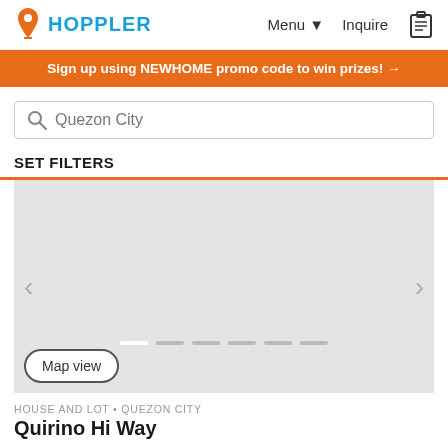HOPPLER   Menu ▾  Inquire
Sign up using NEWHOME promo code to win prizes! →
Quezon City
SET FILTERS
[Figure (screenshot): Gray placeholder image area with left and right navigation arrows and carousel dots at bottom. A 'Map view' button is at bottom-left.]
HOUSE AND LOT • QUEZON CITY
Quirino Hi Way